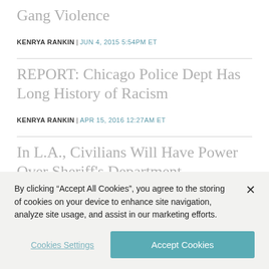Gang Violence
KENRYA RANKIN | JUN 4, 2015 5:54PM ET
REPORT: Chicago Police Dept Has Long History of Racism
KENRYA RANKIN | APR 15, 2016 12:27AM ET
In L.A., Civilians Will Have Power Over Sheriff's Department
JULIANNE HING | DEC 15, 2014 7:00AM ET
By clicking “Accept All Cookies”, you agree to the storing of cookies on your device to enhance site navigation, analyze site usage, and assist in our marketing efforts.